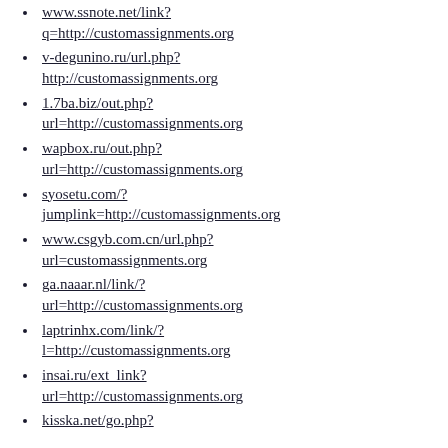www.ssnote.net/link?q=http://customassignments.org
v-degunino.ru/url.php?http://customassignments.org
1.7ba.biz/out.php?url=http://customassignments.org
wapbox.ru/out.php?url=http://customassignments.org
syosetu.com/?jumplink=http://customassignments.org
www.csgyb.com.cn/url.php?url=customassignments.org
ga.naaar.nl/link/?url=http://customassignments.org
laptrinhx.com/link/?l=http://customassignments.org
insai.ru/ext_link?url=http://customassignments.org
kisska.net/go.php?